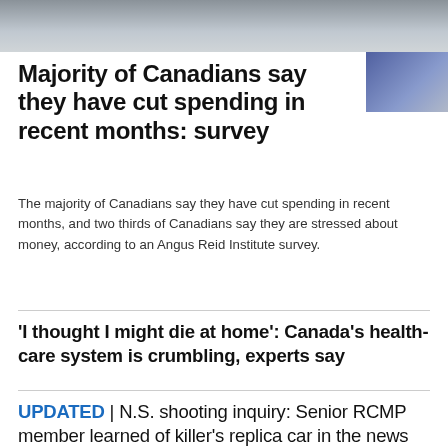[Figure (photo): Partial photo strip at the top of the page showing a blurred scene, with a smaller thumbnail image on the right side]
Majority of Canadians say they have cut spending in recent months: survey
The majority of Canadians say they have cut spending in recent months, and two thirds of Canadians say they are stressed about money, according to an Angus Reid Institute survey.
'I thought I might die at home': Canada's health-care system is crumbling, experts say
UPDATED | N.S. shooting inquiry: Senior RCMP member learned of killer's replica car in the news
OTTAWA WEATHER